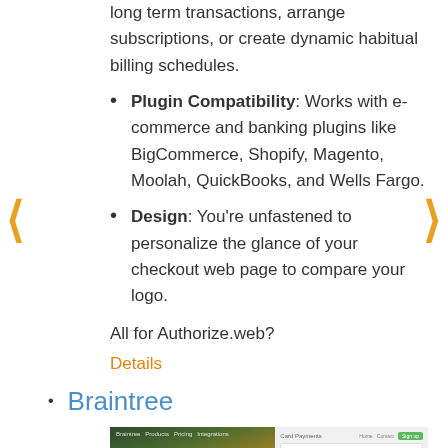long term transactions, arrange subscriptions, or create dynamic habitual billing schedules.
Plugin Compatibility: Works with e-commerce and banking plugins like BigCommerce, Shopify, Magento, Moolah, QuickBooks, and Wells Fargo.
Design: You're unfastened to personalize the glance of your checkout web page to compare your logo.
All for Authorize.web?
Details
Braintree
[Figure (screenshot): Screenshot of Braintree website showing 'Powering More Than Just Payments' tagline on the left with a product/checkout page on the right]